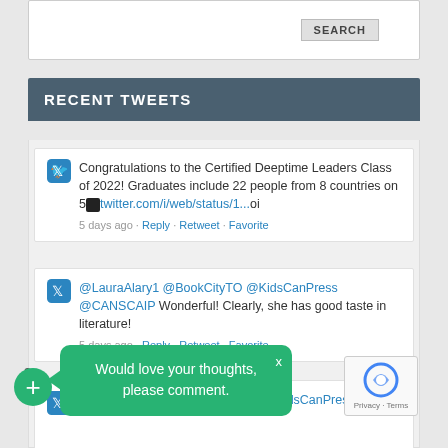[Figure (screenshot): Search box with SEARCH button]
RECENT TWEETS
Congratulations to the Certified Deeptime Leaders Class of 2022! Graduates include 22 people from 8 countries on 5🐦twitter.com/i/web/status/1...oi
5 days ago · Reply · Retweet · Favorite
@LauraAlary1 @BookCityTO @KidsCanPress @CANSCAIP Wonderful! Clearly, she has good taste in literature!
5 days ago · Reply · Retweet · Favorite
@LauraAlary1 @kidsbookcentre @KidsCanPress What
Would love your thoughts, please comment.